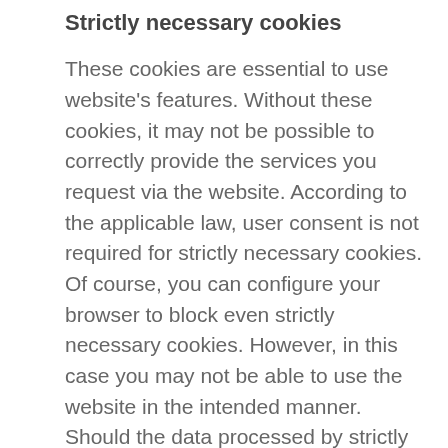Strictly necessary cookies
These cookies are essential to use website's features. Without these cookies, it may not be possible to correctly provide the services you request via the website. According to the applicable law, user consent is not required for strictly necessary cookies. Of course, you can configure your browser to block even strictly necessary cookies. However, in this case you may not be able to use the website in the intended manner. Should the data processed by strictly necessary cookies be deemed personal data in some specific cases, the legal basis for